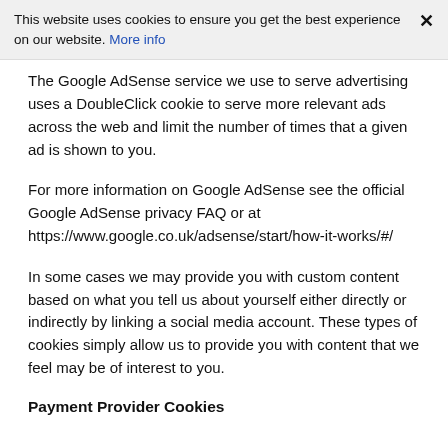This website uses cookies to ensure you get the best experience on our website. More info
The Google AdSense service we use to serve advertising uses a DoubleClick cookie to serve more relevant ads across the web and limit the number of times that a given ad is shown to you.
For more information on Google AdSense see the official Google AdSense privacy FAQ or at https://www.google.co.uk/adsense/start/how-it-works/#/
In some cases we may provide you with custom content based on what you tell us about yourself either directly or indirectly by linking a social media account. These types of cookies simply allow us to provide you with content that we feel may be of interest to you.
Payment Provider Cookies